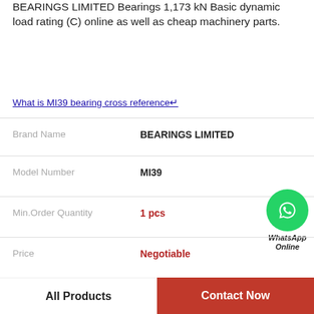BEARINGS LIMITED Bearings 1,173 kN Basic dynamic load rating (C) online as well as cheap machinery parts.
What is MI39 bearing cross reference↵
| Field | Value |
| --- | --- |
| Brand Name | BEARINGS LIMITED |
| Model Number | MI39 |
| Min.Order Quantity | 1 pcs |
| Price | Negotiable |
Product Details
| Width (mm) | 5 |
| --- | --- |
| Width (mm) | 5 |
All Products | Contact Now